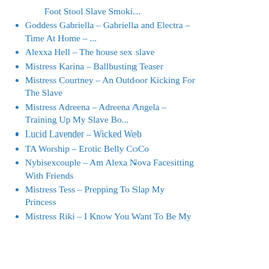Foot Stool Slave Smoki...
Goddess Gabriella – Gabriella and Electra – Time At Home – ...
Alexxa Hell – The house sex slave
Mistress Karina – Ballbusting Teaser
Mistress Courtney – An Outdoor Kicking For The Slave
Mistress Adreena – Adreena Angela – Training Up My Slave Bo...
Lucid Lavender – Wicked Web
TA Worship – Erotic Belly CoCo
Nybisexcouple – Am Alexa Nova Facesitting With Friends
Mistress Tess – Prepping To Slap My Princess
Mistress Riki – I Know You Want To Be My